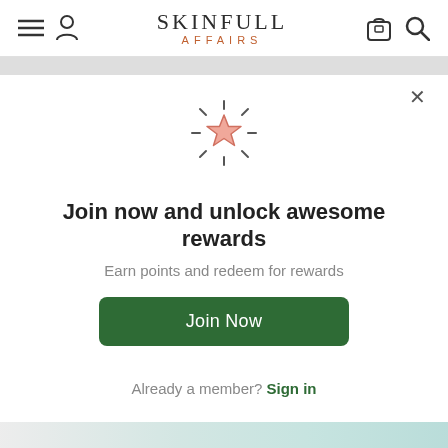[Figure (screenshot): Website header for Skinfull Affairs with hamburger menu, user icon, logo, shopping bag icon, and search icon]
[Figure (illustration): A glowing pink star icon with radiating lines around it]
Join now and unlock awesome rewards
Earn points and redeem for rewards
Join Now
Already a member? Sign in